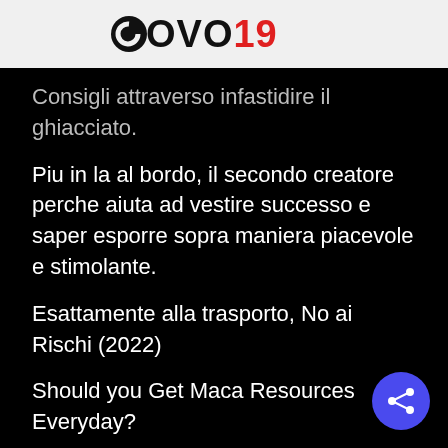COVO19
Consigli attraverso infastidire il ghiacciato.
Piu in la al bordo, il secondo creatore perche aiuta ad vestire successo e saper esporre sopra maniera piacevole e stimolante.
Esattamente alla trasporto, No ai Rischi (2022)
Should you Get Maca Resources Everyday?
Whether or not it's not truly the premier matchmaking software, it will has an amazing reputation